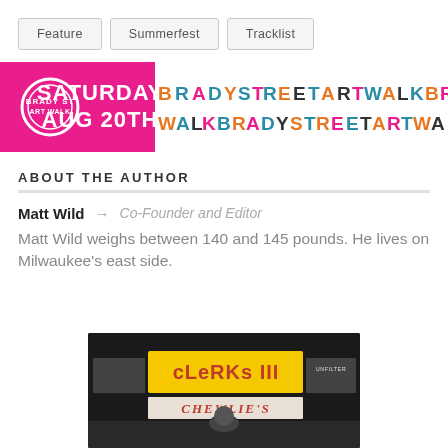Feature
Summerfest
Tracklist
[Figure (illustration): Brady Street Art Walk banner with colorful lettering. Text reads: SATURDAY AUG 20TH BRADY STREET ART WALK (repeating). Magenta block on left with circular logo, orange/teal/yellow multicolor lettering on right.]
ABOUT THE AUTHOR
Matt Wild → Co-Founder and Editor
Matt Wild weighs between 140 and 145 pounds. He lives on Milwaukee's east side.
[Figure (photo): Photo of Clerks III movie promotional image showing a convenience store counter with 'Clerks III' signage and 'Chewlie's' text visible. A person is partially visible behind the counter.]